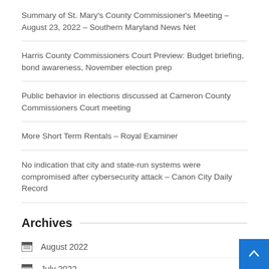Summary of St. Mary's County Commissioner's Meeting – August 23, 2022 – Southern Maryland News Net
Harris County Commissioners Court Preview: Budget briefing, bond awareness, November election prep
Public behavior in elections discussed at Cameron County Commissioners Court meeting
More Short Term Rentals – Royal Examiner
No indication that city and state-run systems were compromised after cybersecurity attack – Canon City Daily Record
Archives
August 2022
July 2022
June 2022